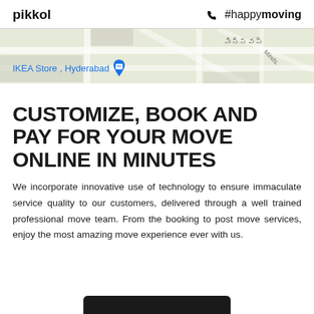pikkol  📞 #happymoving
[Figure (screenshot): Google Maps view showing IKEA Store, Hyderabad with a location pin marker]
CUSTOMIZE, BOOK AND PAY FOR YOUR MOVE ONLINE IN MINUTES
We incorporate innovative use of technology to ensure immaculate service quality to our customers, delivered through a well trained professional move team. From the booking to post move services, enjoy the most amazing move experience ever with us.
[Figure (screenshot): Dark/black UI element at bottom of page, partially visible]